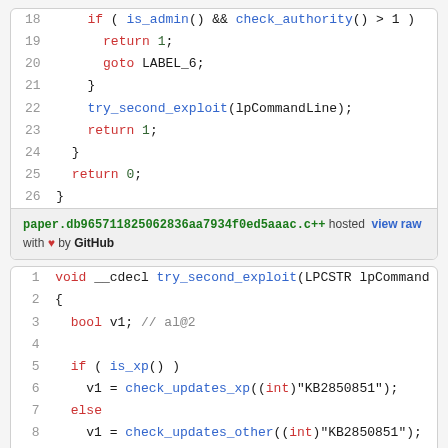[Figure (screenshot): Code block showing lines 18-26 of a C++ file with syntax highlighting. Contains if/return/goto/try_second_exploit/return statements. Footer shows filename paper.db965711825062836aa7934f0ed5aaac.c++ hosted view raw with heart by GitHub.]
[Figure (screenshot): Code block showing lines 1-9 of try_second_exploit function in C++ with syntax highlighting. Contains void __cdecl declaration, bool v1, if is_xp, check_updates_xp, else, check_updates_other, if !v1 && !get_dir.]